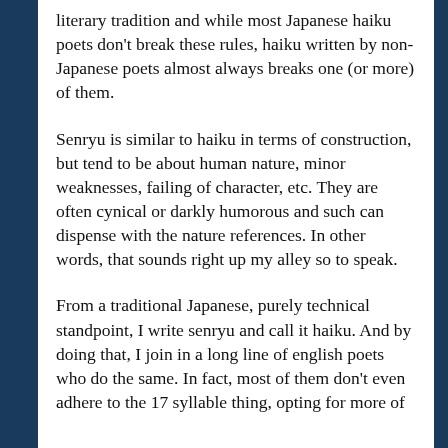literary tradition and while most Japanese haiku poets don't break these rules, haiku written by non-Japanese poets almost always breaks one (or more) of them.
Senryu is similar to haiku in terms of construction, but tend to be about human nature, minor weaknesses, failing of character, etc. They are often cynical or darkly humorous and such can dispense with the nature references. In other words, that sounds right up my alley so to speak.
From a traditional Japanese, purely technical standpoint, I write senryu and call it haiku. And by doing that, I join in a long line of english poets who do the same. In fact, most of them don't even adhere to the 17 syllable thing, opting for more of